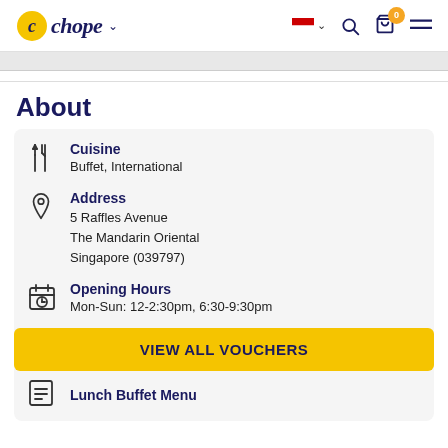Chope
About
Cuisine
Buffet, International
Address
5 Raffles Avenue
The Mandarin Oriental
Singapore (039797)
Opening Hours
Mon-Sun: 12-2:30pm, 6:30-9:30pm
M...
Lunch Buffet Menu
VIEW ALL VOUCHERS